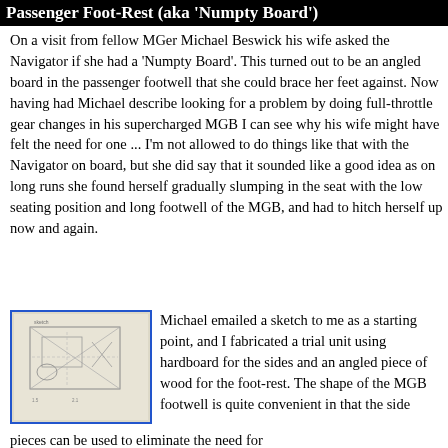Passenger Foot-Rest (aka 'Numpty Board')
On a visit from fellow MGer Michael Beswick his wife asked the Navigator if she had a 'Numpty Board'. This turned out to be an angled board in the passenger footwell that she could brace her feet against. Now having had Michael describe looking for a problem by doing full-throttle gear changes in his supercharged MGB I can see why his wife might have felt the need for one ... I'm not allowed to do things like that with the Navigator on board, but she did say that it sounded like a good idea as on long runs she found herself gradually slumping in the seat with the low seating position and long footwell of the MGB, and had to hitch herself up now and again.
[Figure (photo): Hand-drawn sketch/blueprint of the Numpty Board foot-rest design showing angled board layout with pencil markings on light cardboard]
Michael emailed a sketch to me as a starting point, and I fabricated a trial unit using hardboard for the sides and an angled piece of wood for the foot-rest. The shape of the MGB footwell is quite convenient in that the side pieces can be used to eliminate the need for...